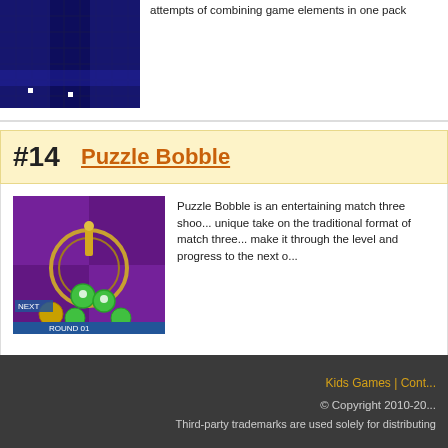[Figure (screenshot): Screenshot of a dark blue platformer game with pixel art style]
attempts of combining game elements in one pack
#14  Puzzle Bobble
[Figure (screenshot): Screenshot of Puzzle Bobble game showing NEXT and ROUND 01 with colorful bubbles on purple background]
Puzzle Bobble is an entertaining match three shoo... unique take on the traditional format of match three... make it through the level and progress to the next o...
Kids Games | Cont... © Copyright 2010-20... Third-party trademarks are used solely for distributing